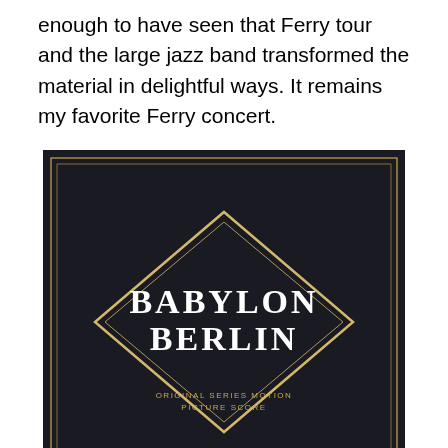enough to have seen that Ferry tour and the large jazz band transformed the material in delightful ways. It remains my favorite Ferry concert.
[Figure (photo): Album cover for 'Babylon Berlin' — dark/black background with a diamond shape outline and the text 'BABYLON BERLIN' inside in white letters, with small subtitle text below the diamond.]
This album had its origins in the soundtrack for the Tom Tykwer German series “Babylon Berlin,” set in the time of the Weimar Republic. Six of the songs here were recorded for that project, and Berry and Good have fleshed out a full album of performances that were all in the same vein for this new album. I visit bryanferry.com every few months seeing what might be up and I was dimly aware that this